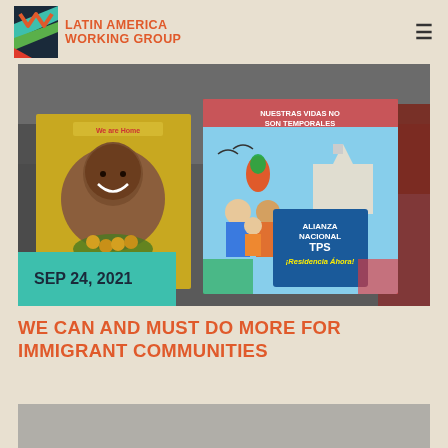LATIN AMERICA WORKING GROUP
[Figure (photo): People holding protest signs including one reading 'Nuestras Vidas No Son Temporales' and another 'Alianza Nacional TPS Residencia Ahora!' at a rally]
SEP 24, 2021
WE CAN AND MUST DO MORE FOR IMMIGRANT COMMUNITIES
[Figure (photo): Second image partially visible at bottom of page]